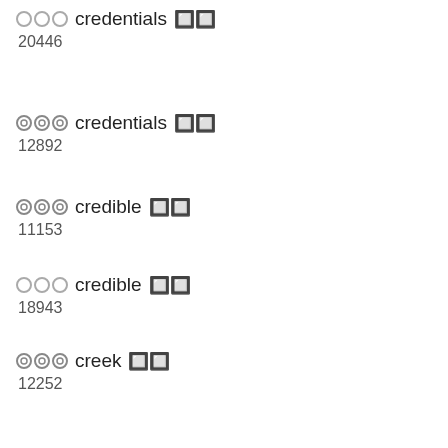○○○ credentials 🔲🔲 20446
⊙⊙⊙ credentials 🔲🔲 12892
⊙⊙⊙ credible 🔲🔲 11153
○○○ credible 🔲🔲 18943
⊙⊙⊙ creek 🔲🔲 12252
○○○ creek 🔲🔲 19383
↪↪↪ crescent 🔲🔲 12212